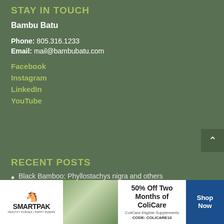STAY IN TOUCH
Bambu Batu
Phone: 805.316.1233
Email: mail@bambubatu.com
Facebook
Instagram
LinkedIn
YouTube
RECENT POSTS
Black Bamboo: Phyllostachys nigra and others
[Figure (other): SmartPak advertisement banner: 50% Off Two Months of ColiCare, ColiCare Eligible Supplements, CODE: COLICARE10, Shop Now button, with horse and rider image]